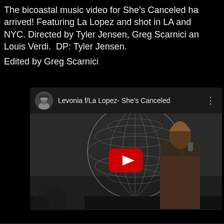The bicoastal music video for She's Canceled has arrived! Featuring La Lopez and shot in LA and NYC. Directed by Tyler Jensen, Greg Scarnici and Louis Verdi.  DP: Tyler Jensen.
Edited by Greg Scarnici
[Figure (screenshot): YouTube embedded video player showing 'Levonia f/La Lopez- She's Canceled' with a thumbnail of a person in a leopard print outfit standing in front of a large globe sculpture, with a red YouTube play button overlay.]